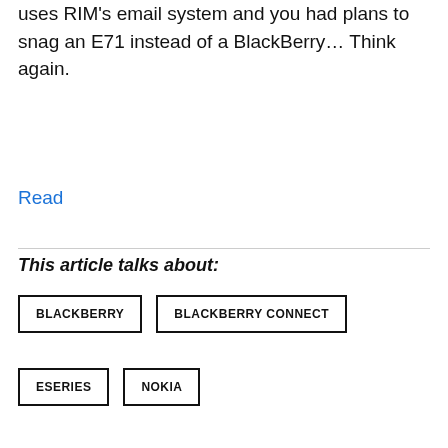uses RIM's email system and you had plans to snag an E71 instead of a BlackBerry… Think again.
Read
This article talks about:
BLACKBERRY
BLACKBERRY CONNECT
ESERIES
NOKIA